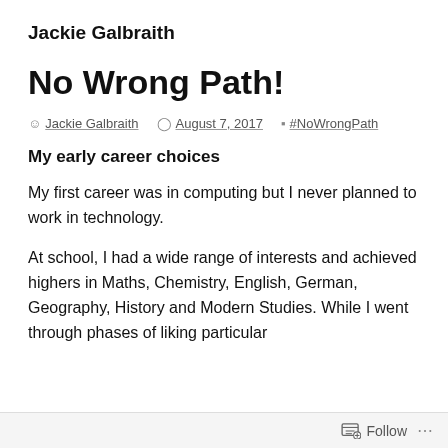Jackie Galbraith
No Wrong Path!
by Jackie Galbraith  August 7, 2017  #NoWrongPath
My early career choices
My first career was in computing but I never planned to work in technology.
At school, I had a wide range of interests and achieved highers in Maths, Chemistry, English, German, Geography, History and Modern Studies. While I went through phases of liking particular